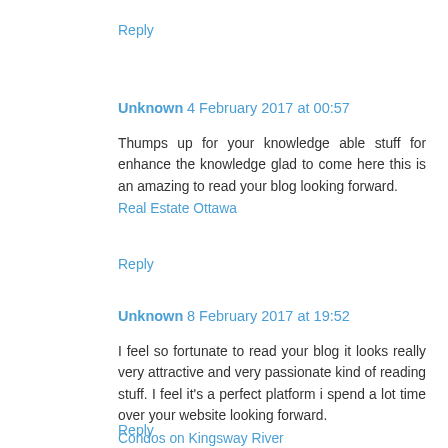Reply
Unknown 4 February 2017 at 00:57
Thumps up for your knowledge able stuff for enhance the knowledge glad to come here this is an amazing to read your blog looking forward.
Real Estate Ottawa
Reply
Unknown 8 February 2017 at 19:52
I feel so fortunate to read your blog it looks really very attractive and very passionate kind of reading stuff. I feel it's a perfect platform i spend a lot time over your website looking forward.
Condos on Kingsway River
Reply